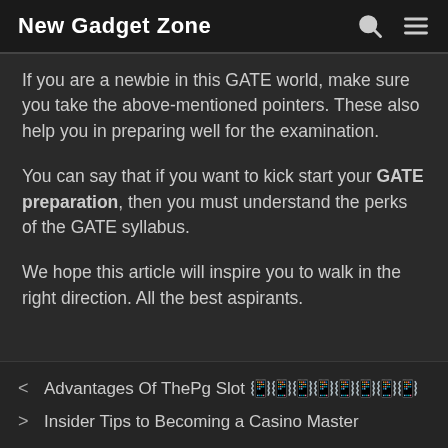New Gadget Zone
If you are a newbie in this GATE world, make sure you take the above-mentioned pointers. These also help you in preparing well for the examination.
You can say that if you want to kick start your GATE preparation, then you must understand the perks of the GATE syllabus.
We hope this article will inspire you to walk in the right direction. All the best aspirants.
< Advantages Of ThePg Slot
> Insider Tips to Becoming a Casino Master